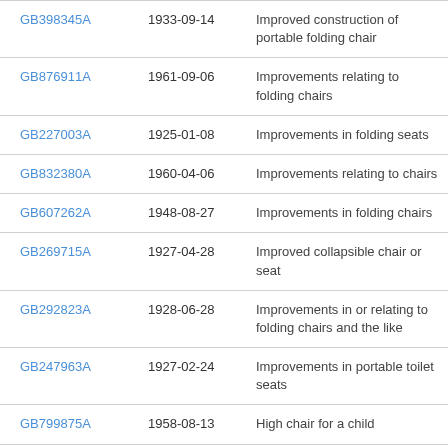| GB398345A | 1933-09-14 | Improved construction of portable folding chair |
| GB876911A | 1961-09-06 | Improvements relating to folding chairs |
| GB227003A | 1925-01-08 | Improvements in folding seats |
| GB832380A | 1960-04-06 | Improvements relating to chairs |
| GB607262A | 1948-08-27 | Improvements in folding chairs |
| GB269715A | 1927-04-28 | Improved collapsible chair or seat |
| GB292823A | 1928-06-28 | Improvements in or relating to folding chairs and the like |
| GB247963A | 1927-02-24 | Improvements in portable toilet seats |
| GB799875A | 1958-08-13 | High chair for a child |